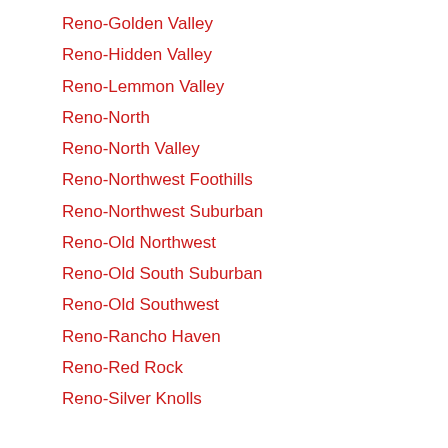Reno-Golden Valley
Reno-Hidden Valley
Reno-Lemmon Valley
Reno-North
Reno-North Valley
Reno-Northwest Foothills
Reno-Northwest Suburban
Reno-Old Northwest
Reno-Old South Suburban
Reno-Old Southwest
Reno-Rancho Haven
Reno-Red Rock
Reno-Silver Knolls